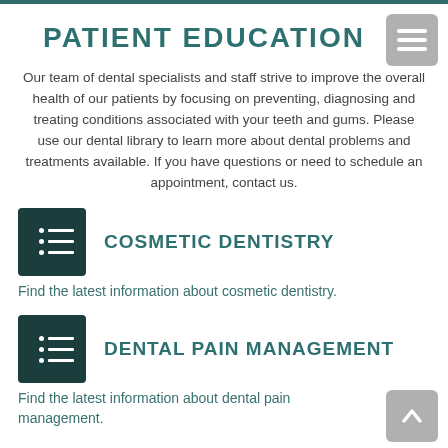PATIENT EDUCATION
Our team of dental specialists and staff strive to improve the overall health of our patients by focusing on preventing, diagnosing and treating conditions associated with your teeth and gums. Please use our dental library to learn more about dental problems and treatments available. If you have questions or need to schedule an appointment, contact us.
COSMETIC DENTISTRY
Find the latest information about cosmetic dentistry.
DENTAL PAIN MANAGEMENT
Find the latest information about dental pain management.